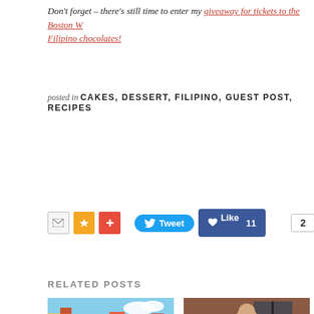Don't forget – there's still time to enter my giveaway for tickets to the Boston W Filipino chocolates!
posted in CAKES, DESSERT, FILIPINO, GUEST POST, RECIPES
[Figure (screenshot): Social sharing buttons: email icon, star icon, plus icon, Tweet button, Like 11 button, and share count showing 2]
RELATED POSTS
[Figure (photo): Photo of Copenhagen, Denmark waterfront showing colorful buildings along a canal]
Copenhagen, Denmark
[Figure (photo): Photo of a group of women smiling together indoors]
Looking Back at 2013